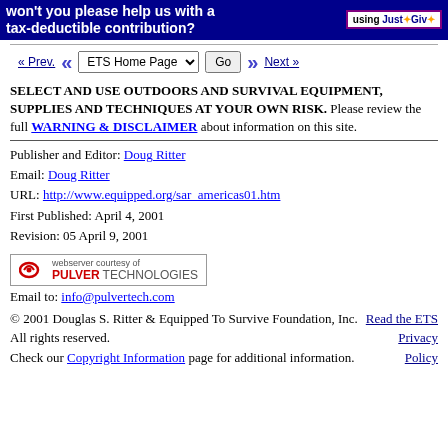won't you please help us with a tax-deductible contribution? using Just Give
« Prev. [navigation] ETS Home Page Go Next »
SELECT AND USE OUTDOORS AND SURVIVAL EQUIPMENT, SUPPLIES AND TECHNIQUES AT YOUR OWN RISK. Please review the full WARNING & DISCLAIMER about information on this site.
Publisher and Editor: Doug Ritter
Email: Doug Ritter
URL: http://www.equipped.org/sar_americas01.htm
First Published: April 4, 2001
Revision: 05 April 9, 2001
[Figure (logo): Pulver Technologies webserver logo]
Email to: info@pulvertech.com
© 2001 Douglas S. Ritter & Equipped To Survive Foundation, Inc. All rights reserved. Check our Copyright Information page for additional information. Read the ETS Privacy Policy